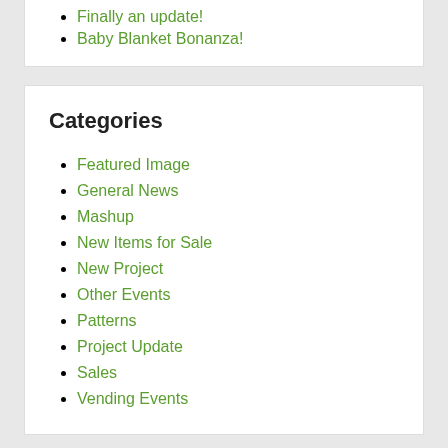Finally an update!
Baby Blanket Bonanza!
Categories
Featured Image
General News
Mashup
New Items for Sale
New Project
Other Events
Patterns
Project Update
Sales
Vending Events
Archives